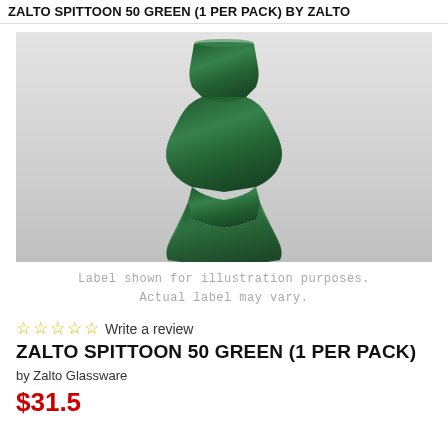ZALTO SPITTOON 50 GREEN (1 PER PACK) BY ZALTO
[Figure (photo): Product photo of a dark green frosted glass spittoon with a geometric hourglass-like shape, shown against a light grey gradient background with a reflection below it.]
Label shown for illustration purposes. Actual label may vary.
☆☆☆☆☆ Write a review
ZALTO SPITTOON 50 GREEN (1 PER PACK)
by Zalto Glassware
$31.50